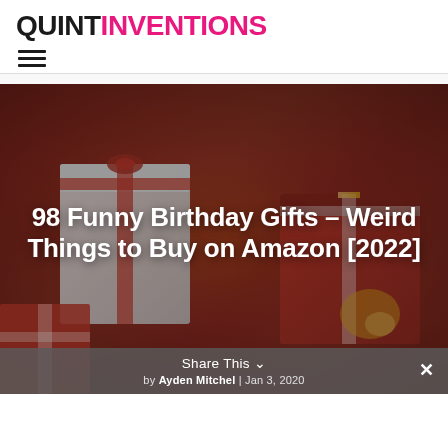QUINTINVENTIONS
[Figure (logo): QuintInventions logo: QUINT in black bold, INVENTIONS in pink bold, large sans-serif font]
[Figure (photo): Background photo of colorful wrapped birthday gift boxes with ribbons in red, white, and gold tones]
98 Funny Birthday Gifts – Weird Things to Buy on Amazon [2022]
Share This ∨
by Ayden Mitchel | Jan 3, 2020